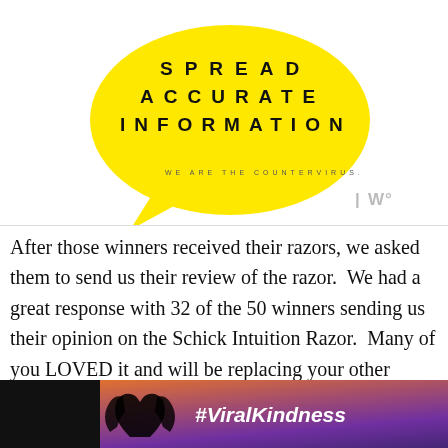[Figure (illustration): Yellow speech bubble graphic with bold spaced text reading 'SPREAD ACCURATE INFORMATION' and tagline 'WE ARE THE COUNTERVIRUS.' with a watermark logo in bottom right]
After those winners received their razors, we asked them to send us their review of the razor.  We had a great response with 32 of the 50 winners sending us their opinion on the Schick Intuition Razor.  Many of you LOVED it and will be replacing your other razors, a few of you liked it enough to buy it again and a select few of you
[Figure (infographic): Advertisement banner with dark background showing hands forming heart shape silhouette against sunset, with #ViralKindness text and close button, with dark right panel showing X and logo marks]